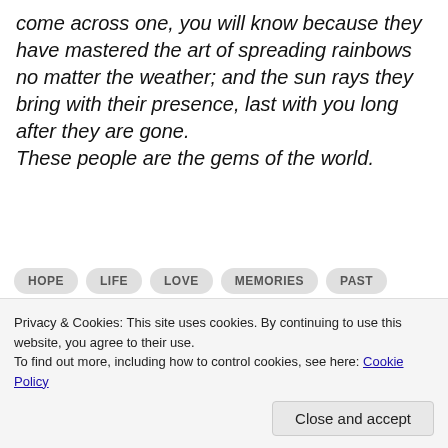come across one, you will know because they have mastered the art of spreading rainbows no matter the weather; and the sun rays they bring with their presence, last with you long after they are gone. These people are the gems of the world.
HOPE
LIFE
LOVE
MEMORIES
PAST
POETRY
PROSE
REALITY
WRITING
Privacy & Cookies: This site uses cookies. By continuing to use this website, you agree to their use. To find out more, including how to control cookies, see here: Cookie Policy